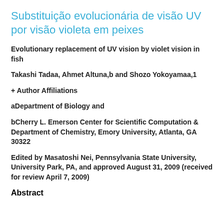Substituição evolucionária de visão UV por visão violeta em peixes
Evolutionary replacement of UV vision by violet vision in fish
Takashi Tadaa, Ahmet Altuna,b and Shozo Yokoyamaa,1
+ Author Affiliations
aDepartment of Biology and
bCherry L. Emerson Center for Scientific Computation & Department of Chemistry, Emory University, Atlanta, GA 30322
Edited by Masatoshi Nei, Pennsylvania State University, University Park, PA, and approved August 31, 2009 (received for review April 7, 2009)
Abstract